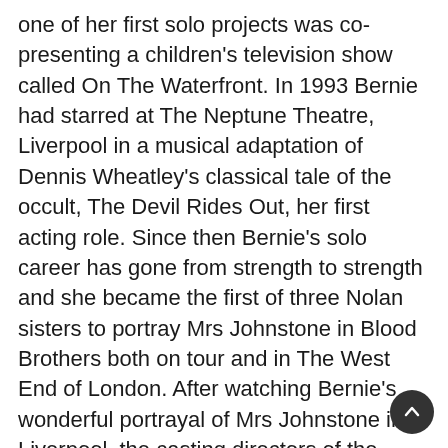one of her first solo projects was co-presenting a children's television show called On The Waterfront. In 1993 Bernie had starred at The Neptune Theatre, Liverpool in a musical adaptation of Dennis Wheatley's classical tale of the occult, The Devil Rides Out, her first acting role. Since then Bernie's solo career has gone from strength to strength and she became the first of three Nolan sisters to portray Mrs Johnstone in Blood Brothers both on tour and in The West End of London. After watching Bernie's wonderful portrayal of Mrs Johnstone in Liverpool, the casting directors of the Channel 4 soap opera Brookside approached her and asked her to audition for their show. Bernie was immediately cast in the role of hairdresser Diane Murray, a character that has gone on to be much loved by many viewers. In October 2002 Bernie left to join The Bill, playing the role of Sergeant Sheelagh Murphy. Still the best female rock vocalist in the UK. Read along with us for more content to stay tuned...